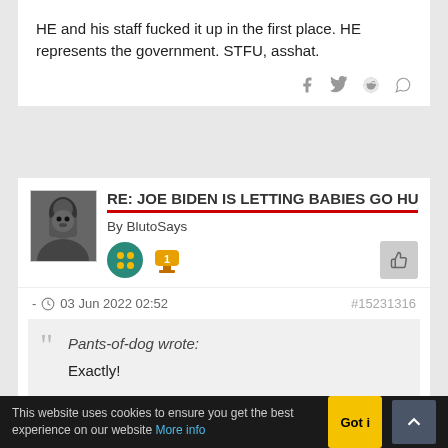HE and his staff fucked it up in the first place. HE represents the government. STFU, asshat.
RE: JOE BIDEN IS LETTING BABIES GO HU
By BlutoSays
- 03 Jun 2022 02:52   #15231316
Pants-of-dog wrote:
Exactly!

The only sane thing is to get rid of all baby food regulations.
This website uses cookies to ensure you get the best experience on our website More info